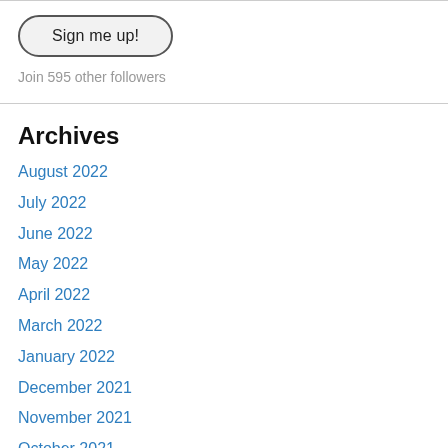Sign me up!
Join 595 other followers
Archives
August 2022
July 2022
June 2022
May 2022
April 2022
March 2022
January 2022
December 2021
November 2021
October 2021
September 2021
August 2021